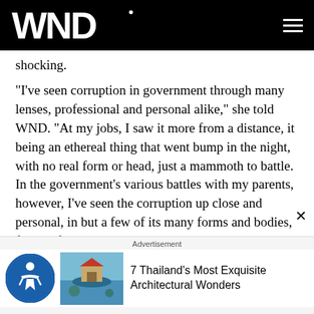WND
shocking.
"I've seen corruption in government through many lenses, professional and personal alike," she told WND. "At my jobs, I saw it more from a distance, it being an ethereal thing that went bump in the night, with no real form or head, just a mammoth to battle. In the government's various battles with my parents, however, I've seen the corruption up close and personal, in but a few of its many forms and bodies, face-to-face. I've seen what weapons the status quo will use to defend itself against all attacks, even if those attacks come by way of
Advertisement
7 Thailand's Most Exquisite Architectural Wonders